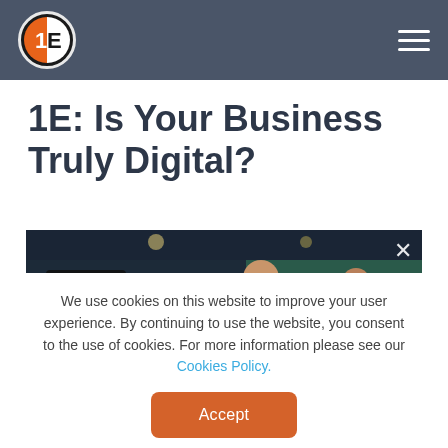1E logo and navigation menu
1E: Is Your Business Truly Digital?
[Figure (photo): Video still showing two men in a modern office setting being filmed by a camera crew.]
We use cookies on this website to improve your user experience. By continuing to use the website, you consent to the use of cookies. For more information please see our Cookies Policy.
Accept